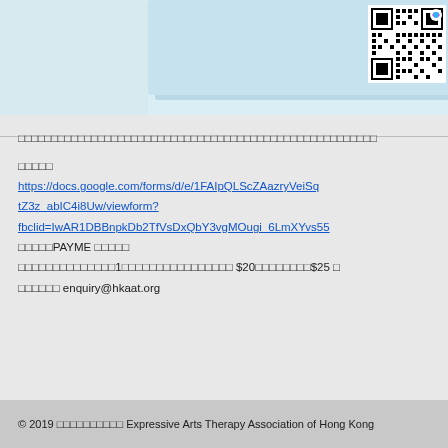[Figure (photo): Top banner with light blue/teal background, partial image of a scene on the left, and a QR code with colorful logo in the upper right corner.]
□□□□□□□□□□□□□□□□□□□□□□□□□□□□□□□□□□□□□□□□□□□□□□□□□□□□□□
□□□□□
https://docs.google.com/forms/d/e/1FAIpQLScZAazryVeiSqtZ3z_abIC4i8Uw/viewform?fbclid=IwAR1DBBnpkDb2TfVsDxQbY3vgMOugi_6LmXYvs55
□□□□□PAYME □□□□□
□□□□□□□□□□□□□□1□□□□□□□□□□□□□□□□ $20□□□□□□□□$25 □
□□□□□□ enquiry@hkaat.org
© 2019 □□□□□□□□□□  Expressive Arts Therapy Association of Hong Kong